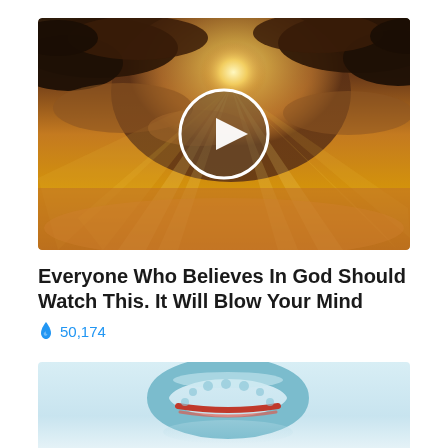[Figure (screenshot): Video thumbnail showing sunbeams breaking through dramatic clouds with a circular play button overlay in the center]
Everyone Who Believes In God Should Watch This. It Will Blow Your Mind
🔥 50,174
[Figure (photo): Photo of a light blue fitness/activity tracker wristband with a red detail, shown against a light blue background with a reflection beneath it]